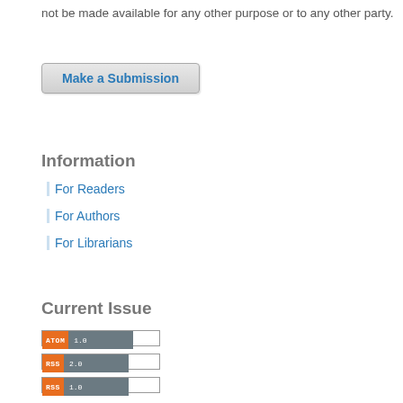not be made available for any other purpose or to any other party.
[Figure (other): Make a Submission button]
Information
For Readers
For Authors
For Librarians
Current Issue
[Figure (other): ATOM 1.0 feed badge]
[Figure (other): RSS 2.0 feed badge]
[Figure (other): RSS 1.0 feed badge]